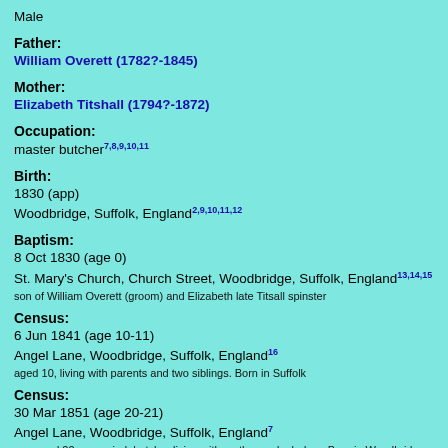Male
Father: William Overett (1782?-1845)
Mother: Elizabeth Titshall (1794?-1872)
Occupation: master butcher 7,8,9,10,11
Birth: 1830 (app) Woodbridge, Suffolk, England 2,9,10,11,12
Baptism: 8 Oct 1830 (age 0) St. Mary's Church, Church Street, Woodbridge, Suffolk, England 13,14,15 son of William Overett (groom) and Elizabeth late Titsall spinster
Census: 6 Jun 1841 (age 10-11) Angel Lane, Woodbridge, Suffolk, England 16 aged 10, living with parents and two siblings. Born in Suffolk
Census: 30 Mar 1851 (age 20-21) Angel Lane, Woodbridge, Suffolk, England 7 son aged 20 unmarried, butcher living with mother and a lodger. Born in Woodbridge Suffolk
Census: